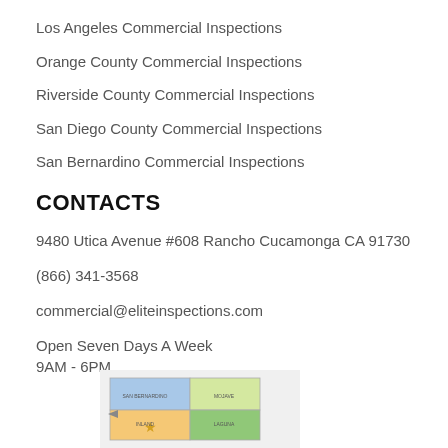Los Angeles Commercial Inspections
Orange County Commercial Inspections
Riverside County Commercial Inspections
San Diego County Commercial Inspections
San Bernardino Commercial Inspections
CONTACTS
9480 Utica Avenue #608 Rancho Cucamonga CA 91730
(866) 341-3568
commercial@eliteinspections.com
Open Seven Days A Week
9AM - 6PM
[Figure (map): Partial map showing Southern California county regions with color-coded areas including San Bernardino, Riverside, and other counties]